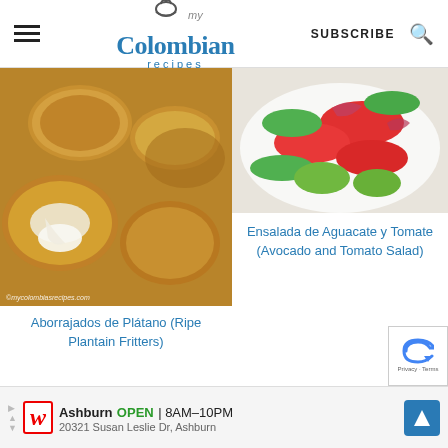my Colombian recipes | SUBSCRIBE
[Figure (photo): Aborrajados de Platano - ripe plantain fritters with melted cheese, golden brown, on parchment paper. Watermark: ©mycolombiasrecipes.com]
[Figure (photo): Ensalada de Aguacate y Tomate - avocado and tomato salad with cucumbers and red onions on a white plate]
Ensalada de Aguacate y Tomate (Avocado and Tomato Salad)
Aborrajados de Plátano (Ripe Plantain Fritters)
Ashburn OPEN 8AM–10PM 20321 Susan Leslie Dr, Ashburn